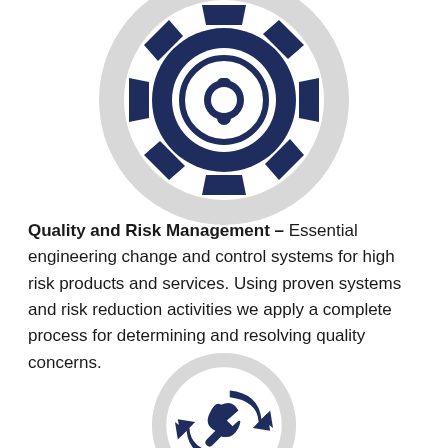[Figure (illustration): Dark navy blue gear/cog icon with an exclamation mark warning symbol inside a circle, centered on a large light grey circle background]
Quality and Risk Management – Essential engineering change and control systems for high risk products and services. Using proven systems and risk reduction activities we apply a complete process for determining and resolving quality concerns.
[Figure (illustration): Dark navy blue recycle/refresh arrows with a wrench icon, centered on a large light grey circle background (partially visible at bottom)]